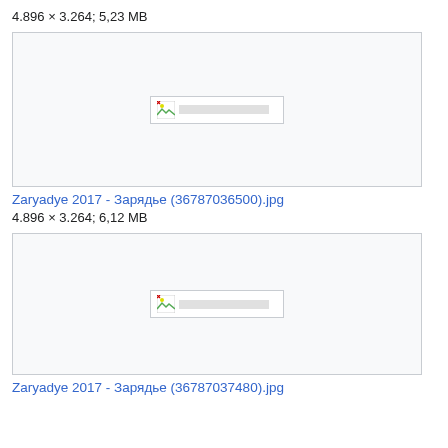4.896 × 3.264; 5,23 MB
[Figure (photo): Broken image placeholder thumbnail for Zaryadye 2017 photo, first image]
Zaryadye 2017 - Зарядье (36787036500).jpg
4.896 × 3.264; 6,12 MB
[Figure (photo): Broken image placeholder thumbnail for Zaryadye 2017 photo, second image]
Zaryadye 2017 - Зарядье (36787037480).jpg